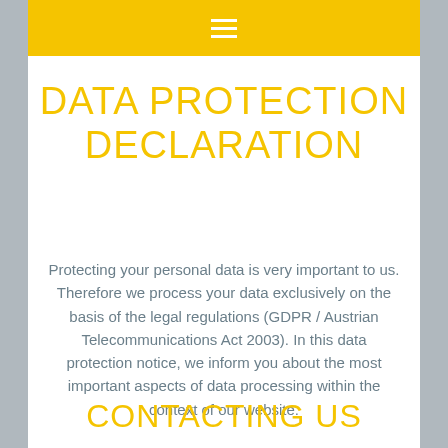≡
DATA PROTECTION DECLARATION
Protecting your personal data is very important to us. Therefore we process your data exclusively on the basis of the legal regulations (GDPR / Austrian Telecommunications Act 2003). In this data protection notice, we inform you about the most important aspects of data processing within the context of our website.
CONTACTING US